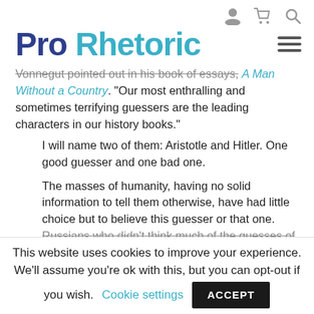[user icon] [cart icon] [search icon]
Pro Rhetoric
Vonnegut pointed out in his book of essays, A Man Without a Country. "Our most enthralling and sometimes terrifying guessers are the leading characters in our history books."
I will name two of them: Aristotle and Hitler. One good guesser and one bad one.
The masses of humanity, having no solid information to tell them otherwise, have had little choice but to believe this guesser or that one. Russians who didn't think much of the guesses of
This website uses cookies to improve your experience. We'll assume you're ok with this, but you can opt-out if you wish. Cookie settings  ACCEPT